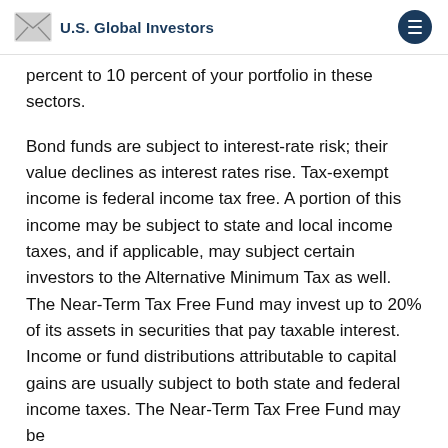U.S. Global Investors
percent to 10 percent of your portfolio in these sectors.
Bond funds are subject to interest-rate risk; their value declines as interest rates rise. Tax-exempt income is federal income tax free. A portion of this income may be subject to state and local income taxes, and if applicable, may subject certain investors to the Alternative Minimum Tax as well. The Near-Term Tax Free Fund may invest up to 20% of its assets in securities that pay taxable interest. Income or fund distributions attributable to capital gains are usually subject to both state and federal income taxes. The Near-Term Tax Free Fund may be